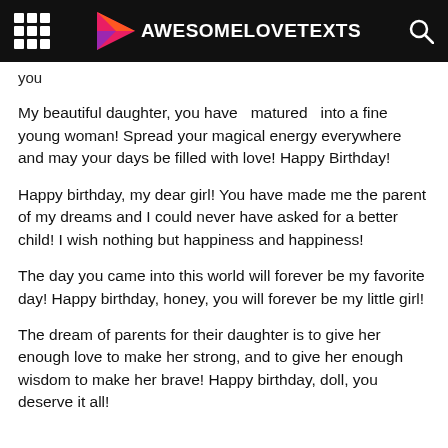AWESOMELOVETEXTS
you
My beautiful daughter, you have  matured  into a fine young woman! Spread your magical energy everywhere and may your days be filled with love! Happy Birthday!
Happy birthday, my dear girl! You have made me the parent of my dreams and I could never have asked for a better child! I wish nothing but happiness and happiness!
The day you came into this world will forever be my favorite day! Happy birthday, honey, you will forever be my little girl!
The dream of parents for their daughter is to give her enough love to make her strong, and to give her enough wisdom to make her brave! Happy birthday, doll, you deserve it all!